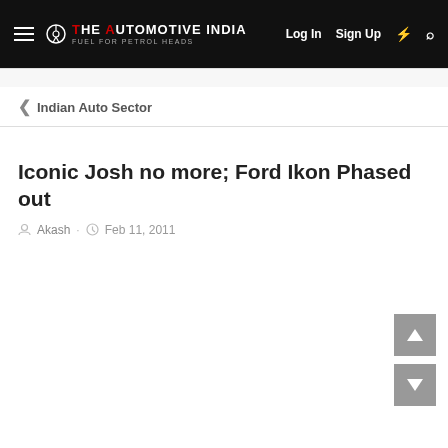The Automotive India — Log In  Sign Up
Indian Auto Sector
Iconic Josh no more; Ford Ikon Phased out
Akash · Feb 11, 2011